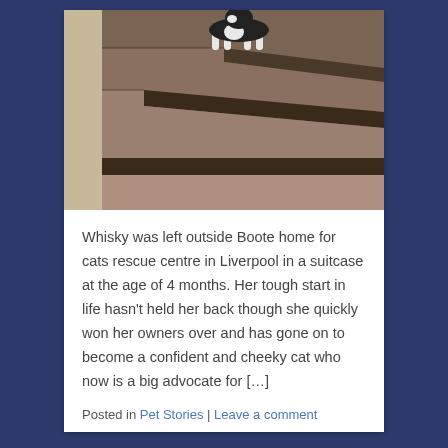[Figure (photo): A black and white cat walking down carpeted stairs, viewed from a low angle. The stairs have dark brown/grey carpet.]
Whisky was left outside Boote home for cats rescue centre in Liverpool in a suitcase at the age of 4 months. Her tough start in life hasn't held her back though she quickly won her owners over and has gone on to become a confident and cheeky cat who now is a big advocate for […]
Posted in Pet Stories | Leave a comment